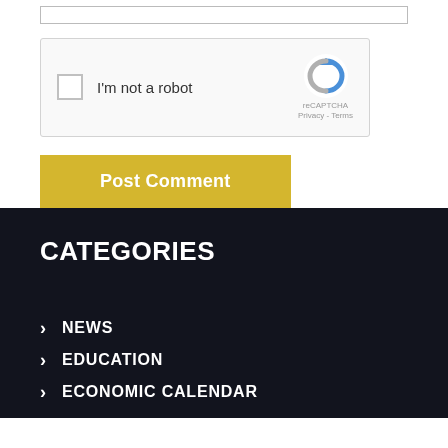[Figure (screenshot): reCAPTCHA widget with checkbox labeled 'I'm not a robot' and the Google reCAPTCHA logo with Privacy and Terms links]
Post Comment
CATEGORIES
NEWS
EDUCATION
ECONOMIC CALENDAR